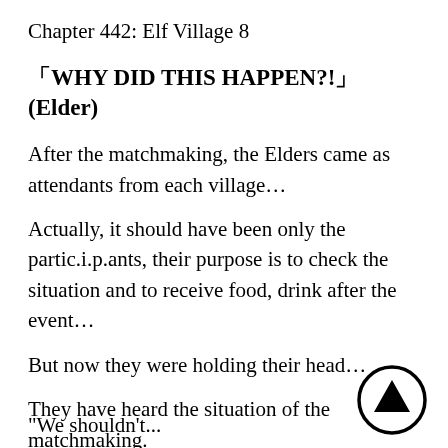Chapter 442: Elf Village 8
「WHY DID THIS HAPPEN?!」(Elder)
After the matchmaking, the Elders came as attendants from each village…
Actually, it should have been only the partic.i.p.ants, their purpose is to check the situation and to receive food, drink after the event…
But now they were holding their head…
They have heard the situation of the matchmaking.
Yes, most of the partic.i.p.ants are really excited no
"We shouldn't have been the first ones into now..."